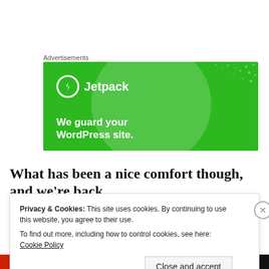Advertisements
[Figure (illustration): Jetpack advertisement banner with green background, circular decorative shape, dot pattern, Jetpack logo with lightning bolt, and tagline 'We guard your WordPress site.']
What has been a nice comfort though, and we're back
Privacy & Cookies: This site uses cookies. By continuing to use this website, you agree to their use.
To find out more, including how to control cookies, see here: Cookie Policy
Close and accept